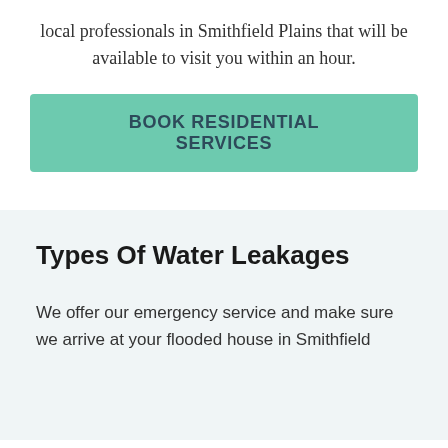local professionals in Smithfield Plains that will be available to visit you within an hour.
BOOK RESIDENTIAL SERVICES
Types Of Water Leakages
We offer our emergency service and make sure we arrive at your flooded house in Smithfield